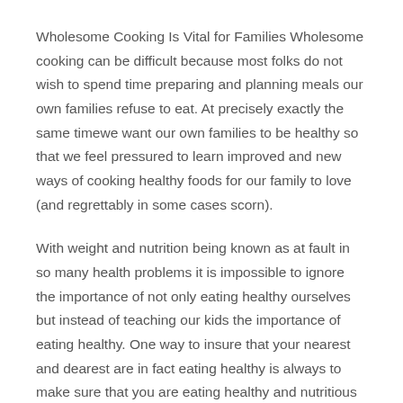Wholesome Cooking Is Vital for Families Wholesome cooking can be difficult because most folks do not wish to spend time preparing and planning meals our own families refuse to eat. At precisely exactly the same timewe want our own families to be healthy so that we feel pressured to learn improved and new ways of cooking healthy foods for our family to love (and regrettably in some cases scorn).
With weight and nutrition being known as at fault in so many health problems it is impossible to ignore the importance of not only eating healthy ourselves but instead of teaching our kids the importance of eating healthy. One way to insure that your nearest and dearest are in fact eating healthy is always to make sure that you are eating healthy and nutritious foods for them. This doesn't necessarily imply that you cannot like the occasional calorie splurge and sometimes even that you shouldn't. The trick to cooking healthy is learning how to regulate portions and